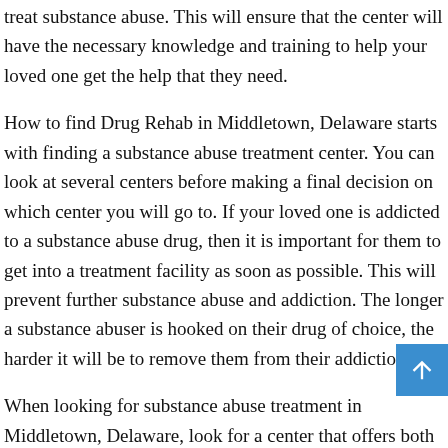treat substance abuse. This will ensure that the center will have the necessary knowledge and training to help your loved one get the help that they need.
How to find Drug Rehab in Middletown, Delaware starts with finding a substance abuse treatment center. You can look at several centers before making a final decision on which center you will go to. If your loved one is addicted to a substance abuse drug, then it is important for them to get into a treatment facility as soon as possible. This will prevent further substance abuse and addiction. The longer a substance abuser is hooked on their drug of choice, the harder it will be to remove them from their addiction.
When looking for substance abuse treatment in Middletown, Delaware, look for a center that offers both inpatient and outpatient services. The type of treatment that your loved one will receive will be determined by their substance abuse condition. The type of treatment that they get may be different if they are only